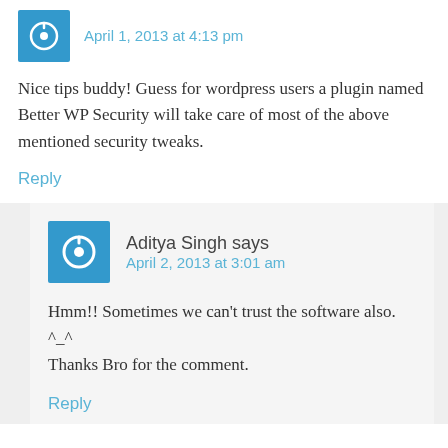April 1, 2013 at 4:13 pm
Nice tips buddy! Guess for wordpress users a plugin named Better WP Security will take care of most of the above mentioned security tweaks.
Reply
Aditya Singh says
April 2, 2013 at 3:01 am
Hmm!! Sometimes we can't trust the software also. ^_^
Thanks Bro for the comment.
Reply